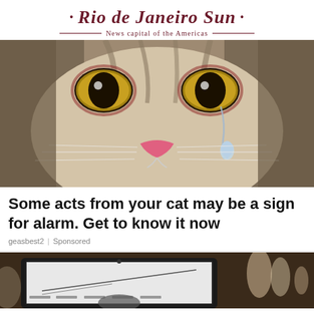Rio de Janeiro Sun — News capital of the Americas
[Figure (photo): Close-up photo of a cat's face with a teardrop falling from one eye, golden eyes, pink nose, gray and white fur]
Some acts from your cat may be a sign for alarm. Get to know it now
geasbest2 | Sponsored
[Figure (photo): Partial photo of a laptop on a table with blurred background showing bottles and other items]